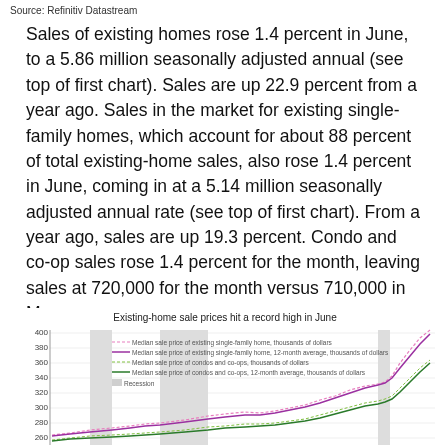Source: Refinitiv Datastream
Sales of existing homes rose 1.4 percent in June, to a 5.86 million seasonally adjusted annual (see top of first chart). Sales are up 22.9 percent from a year ago. Sales in the market for existing single-family homes, which account for about 88 percent of total existing-home sales, also rose 1.4 percent in June, coming in at a 5.14 million seasonally adjusted annual rate (see top of first chart). From a year ago, sales are up 19.3 percent. Condo and co-op sales rose 1.4 percent for the month, leaving sales at 720,000 for the month versus 710,000 in May.
[Figure (line-chart): Line chart showing median sale prices of existing single-family homes and condos/co-ops (both monthly and 12-month averages) from roughly 2000 to 2021, with recession shading. Prices hit record high in June with the single-family line reaching near 380-400 range.]